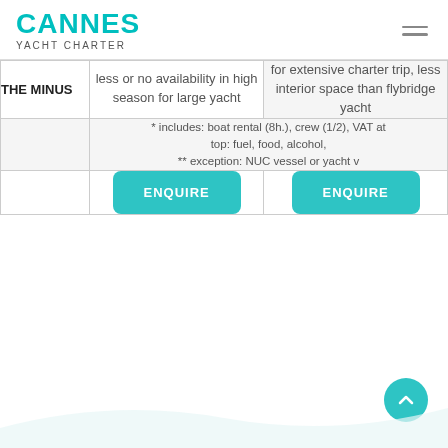CANNES YACHT CHARTER
|  | Column 1 | Column 2 |
| --- | --- | --- |
| THE MINUS | less or no availability in high season for large yacht | for extensive charter trip, less interior space than flybridge yacht |
|  | * includes: boat rental (8h.), crew (1/2), VAT at top: fuel, food, alcohol, ** exception: NUC vessel or yacht v |  |
|  | ENQUIRE | ENQUIRE |